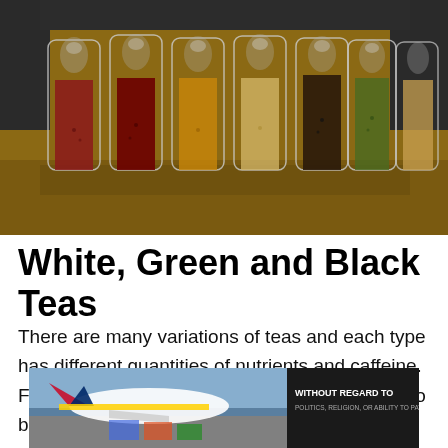[Figure (photo): Row of glass bottles filled with various types of tea leaves and brewed teas in different colors ranging from red to golden to dark brown to green, displayed on a wooden surface.]
White, Green and Black Teas
There are many variations of teas and each type has different quantities of nutrients and caffeine. For instance, white tea and green tea are said to be minimally processed, (an oxidation process), which tends to allow it th...
[Figure (photo): Advertisement banner showing an airplane being loaded with cargo, with text reading WITHOUT REGARD TO POLITICS, RELIGION, OR ABILITY TO PAY.]